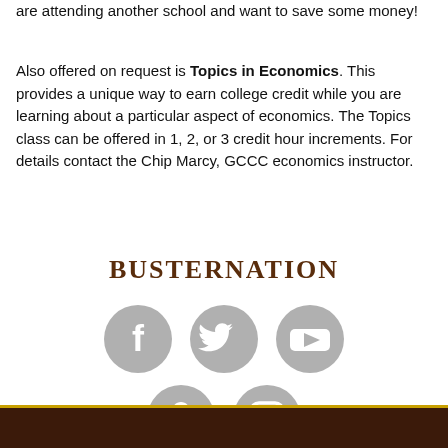are attending another school and want to save some money!
Also offered on request is Topics in Economics. This provides a unique way to earn college credit while you are learning about a particular aspect of economics. The Topics class can be offered in 1, 2, or 3 credit hour increments. For details contact the Chip Marcy, GCCC economics instructor.
BUSTERNATION
[Figure (infographic): Five social media icons in grey circles: Facebook, Twitter, YouTube (top row), Snapchat, Instagram (bottom row)]